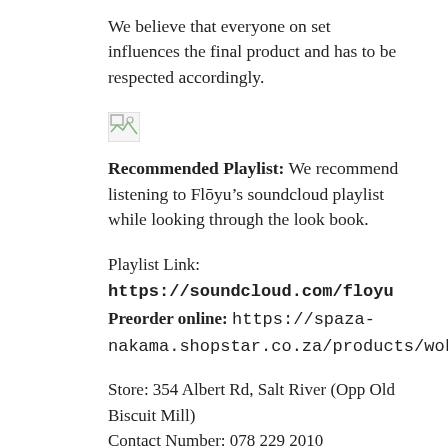We believe that everyone on set influences the final product and has to be respected accordingly.
[Figure (illustration): Broken/missing image placeholder icon]
Recommended Playlist: We recommend listening to Flōyu's soundcloud playlist while looking through the look book.
Playlist Link: https://soundcloud.com/floyu
Preorder online: https://spaza-nakama.shopstar.co.za/products/wokebroke
Store: 354 Albert Rd, Salt River (Opp Old Biscuit Mill)
Contact Number: 078 229 2010